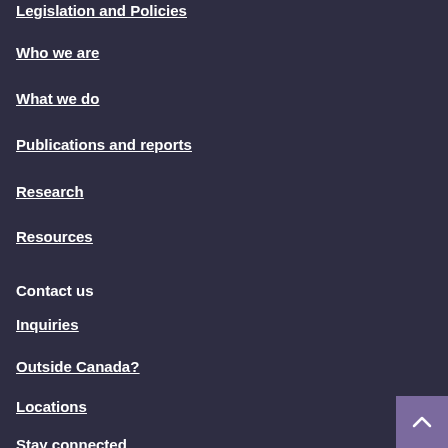Legislation and Policies
Who we are
What we do
Publications and reports
Research
Resources
Contact us
Inquiries
Outside Canada?
Locations
Stay connected